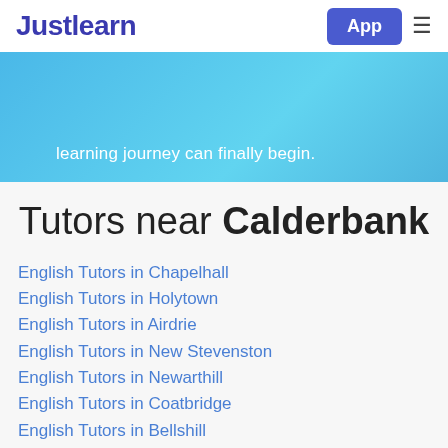Justlearn | App
learning journey can finally begin.
Tutors near Calderbank
English Tutors in Chapelhall
English Tutors in Holytown
English Tutors in Airdrie
English Tutors in New Stevenston
English Tutors in Newarthill
English Tutors in Coatbridge
English Tutors in Bellshill
English Tutors in Carfin
English Tutors in Plains